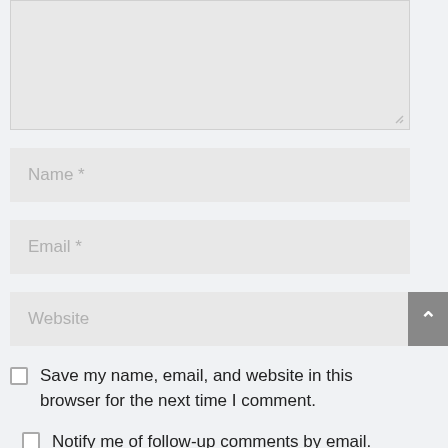[Figure (screenshot): Textarea input box (comment field) with resize handle at bottom-right, partially visible at top of page]
Name *
Email *
Website
Save my name, email, and website in this browser for the next time I comment.
Notify me of follow-up comments by email.